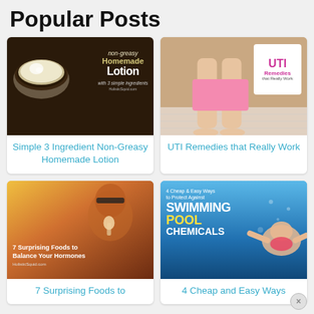Popular Posts
[Figure (photo): Dark background with bowl of white lotion cream, text overlay: non-greasy Homemade Lotion with 3 simple ingredients]
Simple 3 Ingredient Non-Greasy Homemade Lotion
[Figure (photo): Person standing on bathroom floor with UTI Remedies that Really Work badge in corner]
UTI Remedies that Really Work
[Figure (photo): Woman with sunglasses eating ice cream in warm sunlight, text: 7 Surprising Foods to Balance Your Hormones]
7 Surprising Foods to
[Figure (photo): Child swimming underwater, text: 4 Cheap & Easy Ways to Protect Against Swimming Pool Chemicals]
4 Cheap and Easy Ways